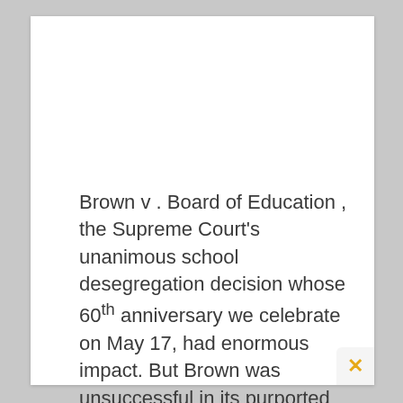Brown v . Board of Education , the Supreme Court's unanimous school desegregation decision whose 60th anniversary we celebrate on May 17, had enormous impact. But Brown was unsuccessful in its purported mission—to undo the school segregation that persists as a modal